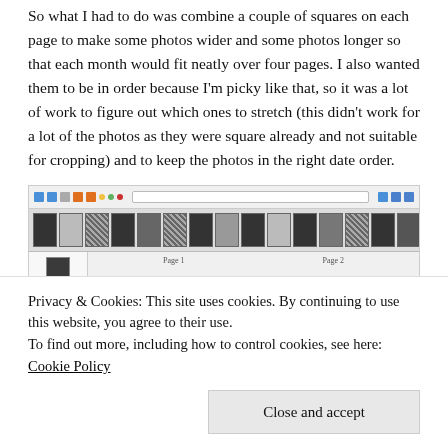So what I had to do was combine a couple of squares on each page to make some photos wider and some photos longer so that each month would fit neatly over four pages. I also wanted them to be in order because I'm picky like that, so it was a lot of work to figure out which ones to stretch (this didn't work for a lot of the photos as they were square already and not suitable for cropping) and to keep the photos in the right date order.
[Figure (screenshot): Screenshot of a photo book editing application showing a toolbar, a strip of thumbnail photos at the top, a sidebar with more thumbnails, and a page layout area with a pink page and a dark purple page preview.]
Privacy & Cookies: This site uses cookies. By continuing to use this website, you agree to their use.
To find out more, including how to control cookies, see here: Cookie Policy
Close and accept